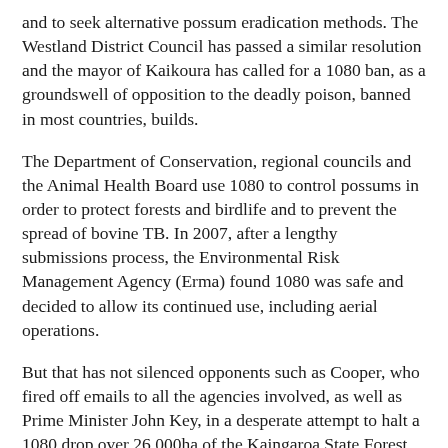and to seek alternative possum eradication methods. The Westland District Council has passed a similar resolution and the mayor of Kaikoura has called for a 1080 ban, as a groundswell of opposition to the deadly poison, banned in most countries, builds.
The Department of Conservation, regional councils and the Animal Health Board use 1080 to control possums in order to protect forests and birdlife and to prevent the spread of bovine TB. In 2007, after a lengthy submissions process, the Environmental Risk Management Agency (Erma) found 1080 was safe and decided to allow its continued use, including aerial operations.
But that has not silenced opponents such as Cooper, who fired off emails to all the agencies involved, as well as Prime Minister John Key, in a desperate attempt to halt a 1080 drop over 26,000ha of the Kaingaroa State Forest east of Taupo this month.